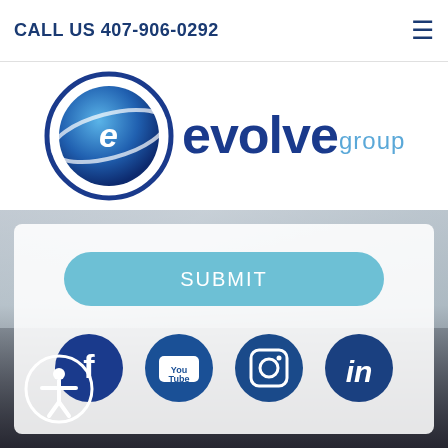CALL US 407-906-0292
[Figure (logo): Evolve Group logo with circular planet/orbit emblem and text 'evolve group']
[Figure (screenshot): Contact form submission area with SUBMIT button, social media icons (Facebook, YouTube, Instagram, LinkedIn), background photo of hands cupping, dark bottom section with accessibility icon]